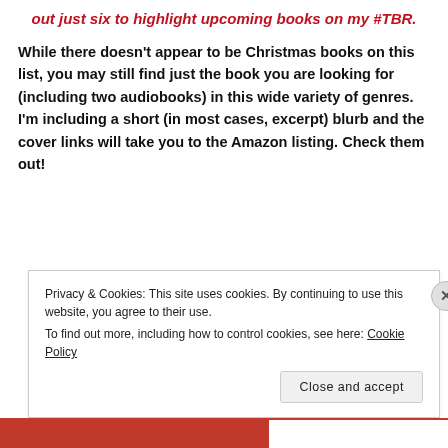out just six to highlight upcoming books on my #TBR.
While there doesn't appear to be Christmas books on this list, you may still find just the book you are looking for (including two audiobooks) in this wide variety of genres. I'm including a short (in most cases, excerpt) blurb and the cover links will take you to the Amazon listing. Check them out!
Privacy & Cookies: This site uses cookies. By continuing to use this website, you agree to their use.
To find out more, including how to control cookies, see here: Cookie Policy
[Close and accept]